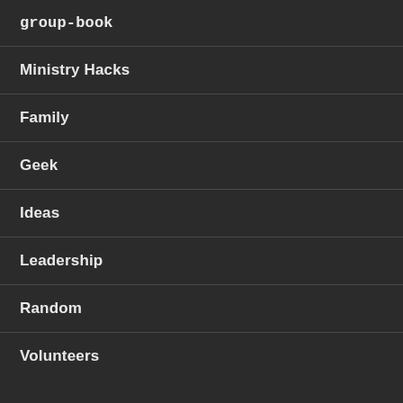group-book
Ministry Hacks
Family
Geek
Ideas
Leadership
Random
Volunteers